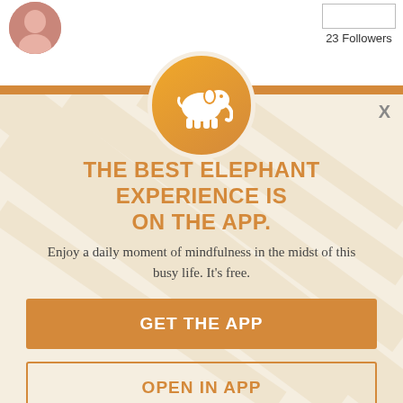[Figure (photo): Circular avatar/profile photo of a person at top left]
23 Followers
[Figure (infographic): App promotion modal with elephant logo icon, headline, description text, and two call-to-action buttons on a cream/beige background with faint elephant texture]
THE BEST ELEPHANT EXPERIENCE IS ON THE APP.
Enjoy a daily moment of mindfulness in the midst of this busy life. It's free.
GET THE APP
OPEN IN APP